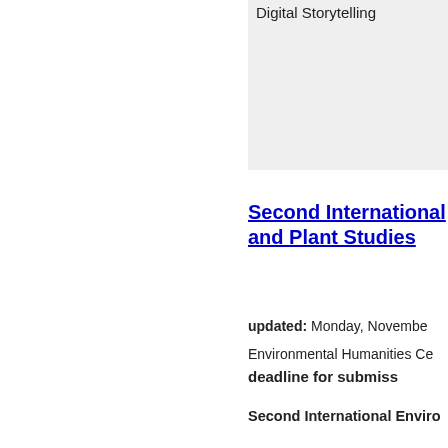Digital Storytelling
Second International ... and Plant Studies
updated: Monday, November...
Environmental Humanities Ce...
deadline for submiss...
Second International Enviro...
Cappadocia U...
Confirmed Keynote Speakers:
Paola Cavalieri (Etica & A...